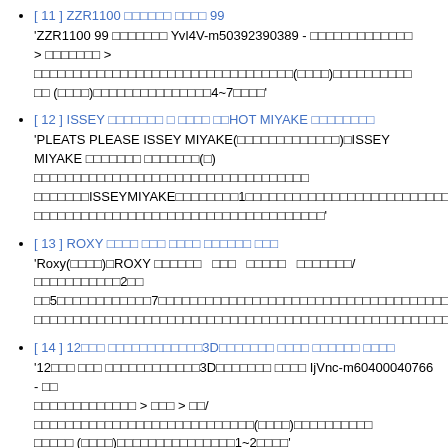[ 11 ] ZZR1100 □□□□□□ □□□□ 99
'ZZR1100 99 □□□□□□□ YvI4V-m50392390389 - □□□□□□□□□□□□□ > □□□□□□□ > □□□□□□□□□□□□□□□□□□□□□□□□□□□□□□□□(□□□□)□□□□□□□□□□ □□ (□□□□)□□□□□□□□□□□□□□□4~7□□□□'
[ 12 ] ISSEY □□□□□□□ □ □□□□ □□HOT MIYAKE □□□□□□□□
'PLEATS PLEASE ISSEY MIYAKE(□□□□□□□□□□□□□)□ISSEY MIYAKE □□□□□□□ □□□□□□□(□) □□□□□□□□□□□□□□□□□□□□□□□□□□□□□□□□□□□□ISSEYMIYAKE□□□□□□□□1□□□□□□□□□□□□□□□□□□□□□□□□□□□□□□□□□□□□□□□□□□□□□□□□□□□□□□□□□'
[ 13 ] ROXY □□□□ □□□ □□□□ □□□□□□ □□□
'Roxy(□□□□)□ROXY □□□□□□  □□□  □□□□□  □□□□□□□/□□□□□□□□□□□2□□□□5□□□□□□□□□□□□7□□□□□□□□□□□□□□□□□□□□□□□□□□□□□□□□□□□□□□□□□□□□□□□□□□□□□□□□□□□□□□□□□□□□□□□□□□□□□□□□□□□□'
[ 14 ] 12□□□ □□□□□□□□□□□□3D□□□□□□□ □□□□ □□□□□□ □□□□
'12□□□ □□□ □□□□□□□□□□□□3D□□□□□□□ □□□□ IjVnc-m60400040766 - □□ □□□□□□□□□□□□□ > □□□ > □□/□□□□□□□□□□□□□□□□□□□□□□□□□□□□(□□□□)□□□□□□□□□□ □□□□□ (□□□□)□□□□□□□□□□□□□□□1~2□□□□'
[ 15 ] Avaron□□K18□□□□□□□□ □□□□□